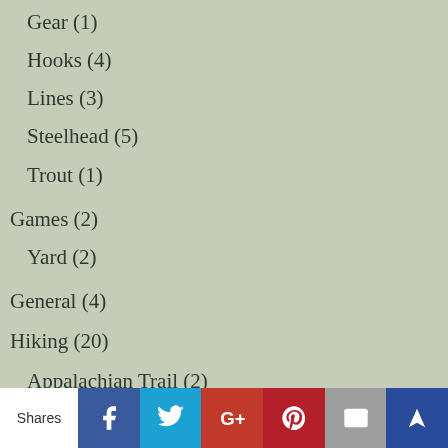Gear (1)
Hooks (4)
Lines (3)
Steelhead (5)
Trout (1)
Games (2)
Yard (2)
General (4)
Hiking (20)
Appalachian Trail (2)
United States (8)
Arizona (2)